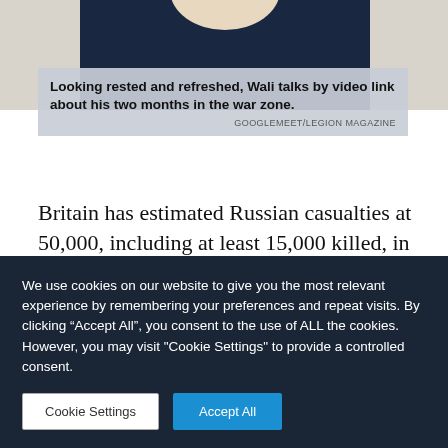[Figure (photo): Photo of a person in a dark navy polo shirt, cropped at the neck/shoulders, with a light beige background. The image is partially visible at the top of the page.]
Looking rested and refreshed, Wali talks by video link about his two months in the war zone.
GOOGLEMEET/LEGION MAGAZINE
Britain has estimated Russian casualties at 50,000, including at least 15,000 killed, in the continuing war, with no end in sight. That exceeds the number killed and wounded in the Soviet Union’s
We use cookies on our website to give you the most relevant experience by remembering your preferences and repeat visits. By clicking “Accept All”, you consent to the use of ALL the cookies. However, you may visit "Cookie Settings" to provide a controlled consent.